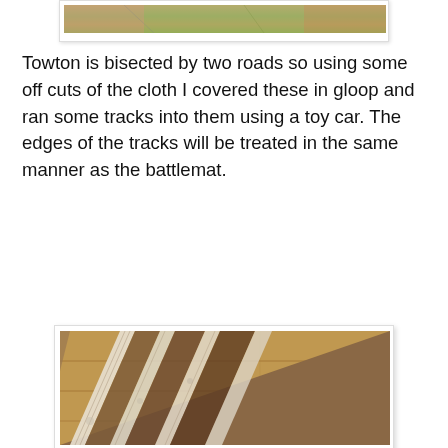[Figure (photo): Top portion of a photo showing a battlemat/cloth with greenery and earth tones visible at top edge]
Towton is bisected by two roads so using some off cuts of the cloth I covered these in gloop and ran some tracks into them using a toy car. The edges of the tracks will be treated in the same manner as the battlemat.
[Figure (photo): Photo of a cloth/fabric battlemat laid on a wooden floor, showing diagonal road tracks made by pressing a toy car through gloop (white/cream mixture), with brown textured areas representing ground and whitish track edges]